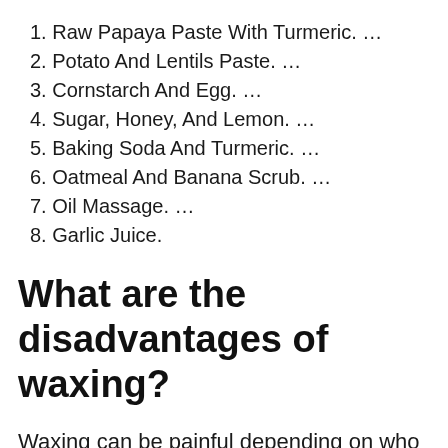1. Raw Papaya Paste With Turmeric. …
2. Potato And Lentils Paste. …
3. Cornstarch And Egg. …
4. Sugar, Honey, And Lemon. …
5. Baking Soda And Turmeric. …
6. Oatmeal And Banana Scrub. …
7. Oil Massage. …
8. Garlic Juice.
What are the disadvantages of waxing?
Waxing can be painful depending on who you ask and their pain tolerance. Because the hair is removed at the root, some people say waxing is more painful than shaving. The hot wax can also burn your skin if you're not